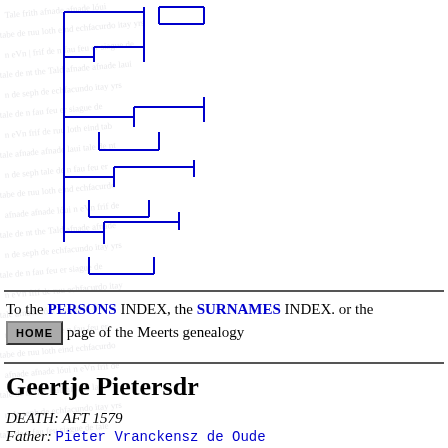[Figure (other): Genealogy tree diagram with blue dashed bracket-style lines showing family connections, on a watermark background of handwritten text]
To the PERSONS INDEX, the SURNAMES INDEX. or the HOME page of the Meerts genealogy
Geertje Pietersdr
DEATH: AFT 1579
Father: Pieter Vranckensz de Oude
Mother: Pietergen ?
Spouse: Willem Willemsz Wetsman
MARRIAGE: